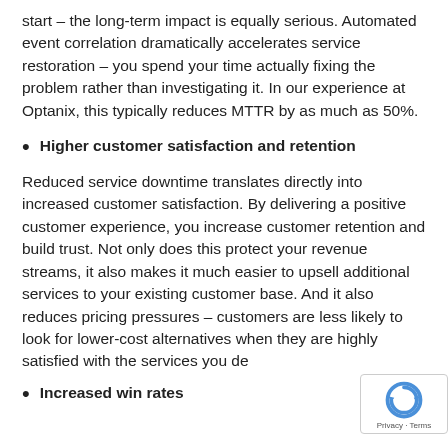start – the long-term impact is equally serious. Automated event correlation dramatically accelerates service restoration – you spend your time actually fixing the problem rather than investigating it. In our experience at Optanix, this typically reduces MTTR by as much as 50%.
Higher customer satisfaction and retention
Reduced service downtime translates directly into increased customer satisfaction. By delivering a positive customer experience, you increase customer retention and build trust. Not only does this protect your revenue streams, it also makes it much easier to upsell additional services to your existing customer base. And it also reduces pricing pressures – customers are less likely to look for lower-cost alternatives when they are highly satisfied with the services you de…
Increased win rates